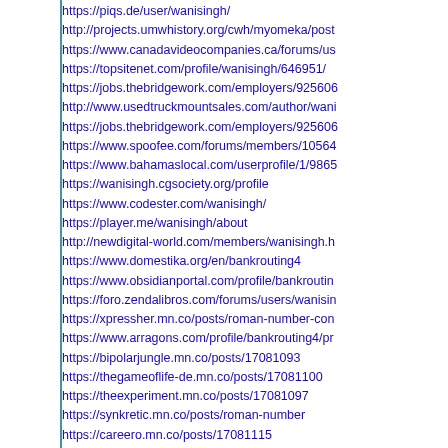https://piqs.de/user/wanisingh/
http://projects.umwhistory.org/cwh/myomeka/post...
https://www.canadavideocompanies.ca/forums/us...
https://topsitenet.com/profile/wanisingh/646951/
https://jobs.thebridgework.com/employers/925606...
http://www.usedtruckmountsales.com/author/wani...
https://jobs.thebridgework.com/employers/925606...
https://www.spoofee.com/forums/members/10564...
https://www.bahamaslocal.com/userprofile/1/9865...
https://wanisingh.cgsociety.org/profile
https://www.codester.com/wanisingh/
https://player.me/wanisingh/about
http://newdigital-world.com/members/wanisingh.h...
https://www.domestika.org/en/bankrouting4
https://www.obsidianportal.com/profile/bankroutin...
https://foro.zendalibros.com/forums/users/wanisin...
https://xpressher.mn.co/posts/roman-number-con...
https://www.arragons.com/profile/bankrouting4/pr...
https://bipolarjungle.mn.co/posts/17081093
https://thegameoflife-de.mn.co/posts/17081100
https://theexperiment.mn.co/posts/17081097
https://synkretic.mn.co/posts/roman-number
https://careero.mn.co/posts/17081115
https://lead-pellet-music-society.mn.co/posts/1708...
https://www.yeoldereptiliansite.com/profile/bankro...
https://www.daloy.tv/profile/bankrouting4/profile...